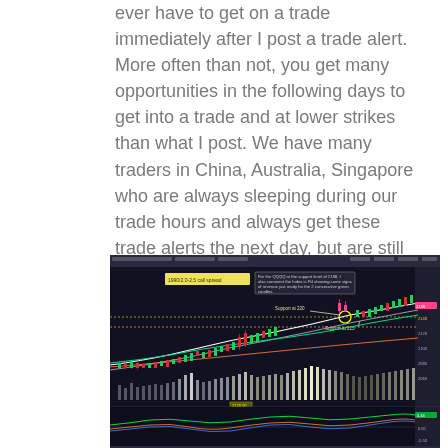ever have to get on a trade immediately after I post a trade alert. More often than not, you get many opportunities in the following days to get into a trade and at lower strikes than what I post. We have many traders in China, Australia, Singapore who are always sleeping during our trade hours and always get these trade alerts the next day, but are still able to benefit from my program.
[Figure (screenshot): A trading chart screenshot showing candlestick price data with moving averages, volume bars, and technical annotations including support levels and trade alerts. The chart has a dark background with green and red candlesticks, white and colored moving average lines, gray volume bars, and yellow text annotation boxes. A lower panel shows oscillator indicators.]